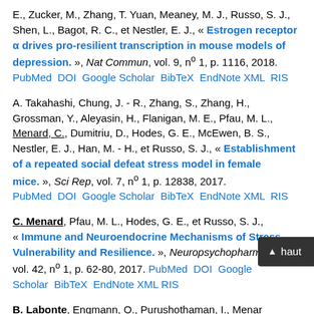E., Zucker, M., Zhang, T. Yuan, Meaney, M. J., Russo, S. J., Shen, L., Bagot, R. C., et Nestler, E. J., « Estrogen receptor α drives pro-resilient transcription in mouse models of depression. », Nat Commun, vol. 9, nº 1, p. 1116, 2018. PubMed DOI Google Scholar BibTeX EndNote XML RIS
A. Takahashi, Chung, J. - R., Zhang, S., Zhang, H., Grossman, Y., Aleyasin, H., Flanigan, M. E., Pfau, M. L., Menard, C., Dumitriu, D., Hodes, G. E., McEwen, B. S., Nestler, E. J., Han, M. - H., et Russo, S. J., « Establishment of a repeated social defeat stress model in female mice. », Sci Rep, vol. 7, nº 1, p. 12838, 2017. PubMed DOI Google Scholar BibTeX EndNote XML RIS
C. Menard, Pfau, M. L., Hodes, G. E., et Russo, S. J., « Immune and Neuroendocrine Mechanisms of Stress Vulnerability and Resilience. », Neuropsychopharmacology, vol. 42, nº 1, p. 62-80, 2017. PubMed DOI Google Scholar BibTeX EndNote XML RIS
B. Labonte, Engmann, O., Purushothaman, I., Menard..., J., Tan, C., Scarpa, J. R., Moy, G., Loh, Y. - H. E., Cahill,..., Z. S., Hamilton, P. J., Calipari, E. S., Hodes, G. E., Issler, O., Kronman, H., Pfau, M., Obradovic, A. L. J., Dong, Y., Neve, R. L., Russo, S., Kazarbo, A., Tamminga, C., Mechawar, N., Turecki,...